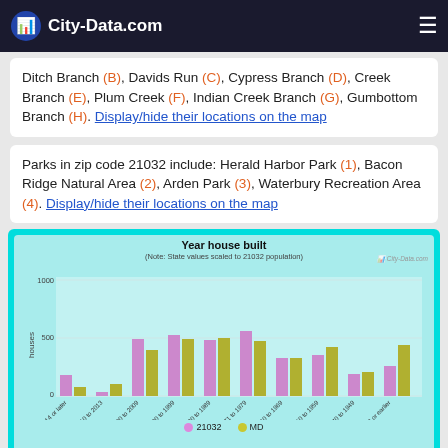City-Data.com
Ditch Branch (B), Davids Run (C), Cypress Branch (D), Creek Branch (E), Plum Creek (F), Indian Creek Branch (G), Gumbottom Branch (H). Display/hide their locations on the map
Parks in zip code 21032 include: Herald Harbor Park (1), Bacon Ridge Natural Area (2), Arden Park (3), Waterbury Recreation Area (4). Display/hide their locations on the map
[Figure (grouped-bar-chart): Year house built]